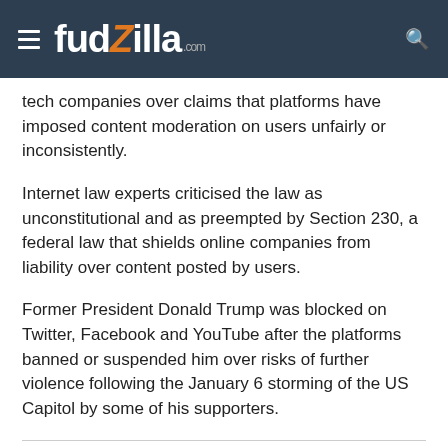fudzilla.com
tech companies over claims that platforms have imposed content moderation on users unfairly or inconsistently.
Internet law experts criticised the law as unconstitutional and as preempted by Section 230, a federal law that shields online companies from liability over content posted by users.
Former President Donald Trump was blocked on Twitter, Facebook and YouTube after the platforms banned or suspended him over risks of further violence following the January 6 storming of the US Capitol by some of his supporters.
Last modified on 01 JULY 2021